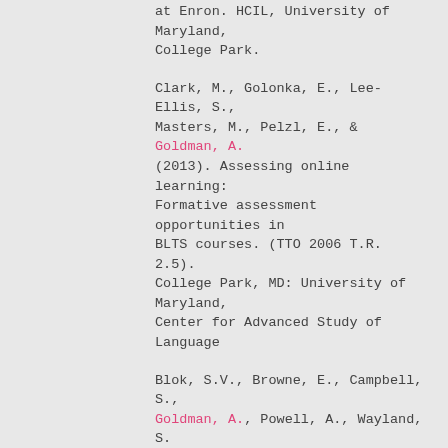at Enron. HCIL, University of Maryland, College Park.
Clark, M., Golonka, E., Lee-Ellis, S., Masters, M., Pelzl, E., & Goldman, A. (2013). Assessing online learning: Formative assessment opportunities in BLTS courses. (TTO 2006 T.R. 2.5). College Park, MD: University of Maryland, Center for Advanced Study of Language
Blok, S.V., Browne, E., Campbell, S., Goldman, A., Powell, A., Wayland, S. (2012). A study of linguists' current workflow and initial experience with MultiTrans Prism, (TTO 83405 T.R 1.1). College Park, MD: University of Maryland, Center for Advanced Study of Language
Clark, M. K., Masters, M. C., Osthus, P., Mathis, A., Pelzl, E., Boutz, J., Madgavkar, M., Biller, A., Goldman, A., Burns, W., & Doughty, C.  J. (2012). Authentic input,